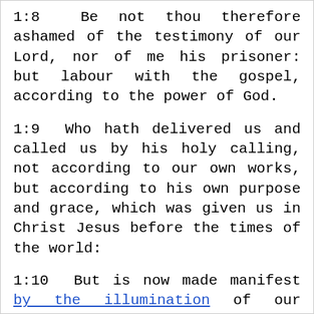1:8  Be not thou therefore ashamed of the testimony of our Lord, nor of me his prisoner: but labour with the gospel, according to the power of God.
1:9  Who hath delivered us and called us by his holy calling, not according to our own works, but according to his own purpose and grace, which was given us in Christ Jesus before the times of the world:
1:10  But is now made manifest by the illumination of our Saviour Jesus Christ, who hath destroyed death and hath brought to light life and incorruption by the gospel.
1:11  Wherein I am appointed a preacher